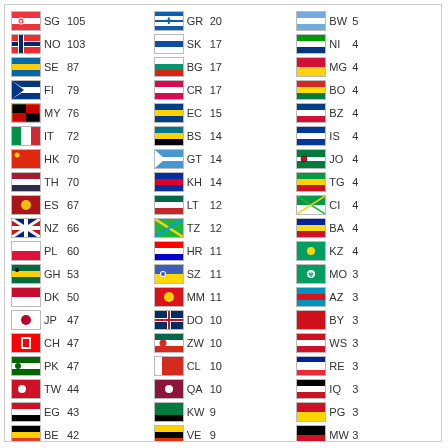| Flag | Code | Count | Flag | Code | Count | Flag | Code | Count |
| --- | --- | --- | --- | --- | --- | --- | --- | --- |
| SG | 105 | GR | 20 | BW | 5 |
| NO | 103 | SK | 17 | NI | 4 |
| SE | 87 | BG | 17 | MG | 4 |
| FI | 79 | CR | 17 | BO | 4 |
| MY | 76 | EC | 15 | BZ | 4 |
| IT | 72 | BS | 14 | IS | 4 |
| HK | 70 | GT | 14 | JO | 4 |
| TH | 70 | KH | 14 | TG | 4 |
| ES | 67 | LT | 12 | CI | 4 |
| NZ | 66 | TZ | 12 | BA | 4 |
| PL | 60 | HR | 11 | KZ | 4 |
| GH | 53 | SZ | 11 | MO | 3 |
| DK | 50 | MM | 11 | AZ | 3 |
| JP | 47 | DO | 10 | BY | 3 |
| CH | 47 | ZW | 10 | WS | 3 |
| PK | 47 | CL | 10 | RE | 3 |
| TW | 44 | QA | 10 | IQ | 3 |
| EG | 43 | KW | 9 | PG | 3 |
| BE | 42 | VE | 9 | MW | 3 |
| KE | 41 | UG | 9 | SV | 3 |
| AE | 41 | MA | 8 | BH | 3 |
| VN | 36 | KY | 7 | SN | 2 |
Pageviews: 57,683
[Figure (logo): Flag Counter logo — small flag icon followed by 'FLAG counter' brand text]